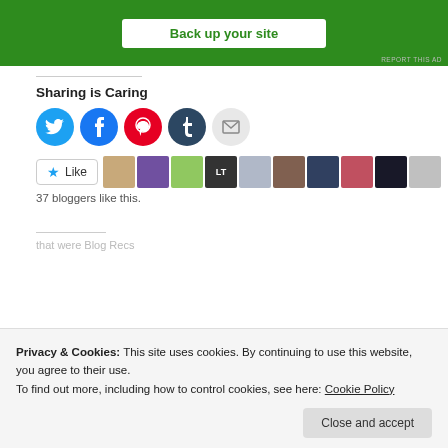[Figure (screenshot): Green ad banner with 'Back up your site' button and 'REPORT THIS AD' text]
Sharing is Caring
[Figure (infographic): Social sharing icons: Twitter (blue), Facebook (blue), Pinterest (red), Tumblr (dark), Email (grey)]
[Figure (infographic): Like button with star and row of 10 blogger avatars]
37 bloggers like this.
Privacy & Cookies: This site uses cookies. By continuing to use this website, you agree to their use. To find out more, including how to control cookies, see here: Cookie Policy
Close and accept
that were Blog Recs
Awards!